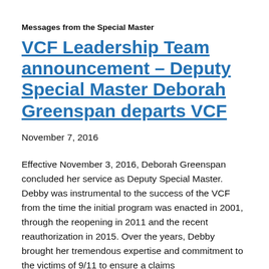Messages from the Special Master
VCF Leadership Team announcement – Deputy Special Master Deborah Greenspan departs VCF
November 7, 2016
Effective November 3, 2016, Deborah Greenspan concluded her service as Deputy Special Master. Debby was instrumental to the success of the VCF from the time the initial program was enacted in 2001, through the reopening in 2011 and the recent reauthorization in 2015. Over the years, Debby brought her tremendous expertise and commitment to the victims of 9/11 to ensure a claims